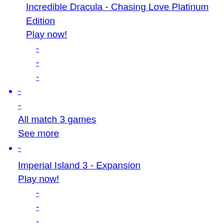Incredible Dracula - Chasing Love Platinum Edition Play now!
-
-
-
- - All match 3 games See more
- Imperial Island 3 - Expansion Play now!
-
-
-
- Magic Haven Play now!
-
-
-
-